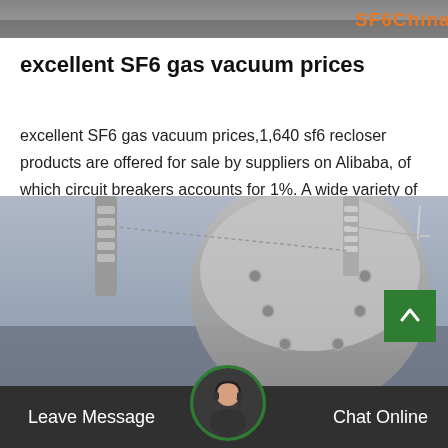[Figure (photo): Top banner image showing industrial equipment, partially visible, with SF6China logo in orange text on the right]
excellent SF6 gas vacuum prices
excellent SF6 gas vacuum prices,1,640 sf6 recloser products are offered for sale by suppliers on Alibaba, of which circuit breakers accounts for 1%. A wide variety of sf6 recloser options are available to you, such as 3. You can also choose from vacuum, high voltag…
Get Price
[Figure (photo): Industrial electrical substation equipment — large grey cylindrical transformer or switchgear components with insulators, power lines visible in background]
Leave Message   Chat Online